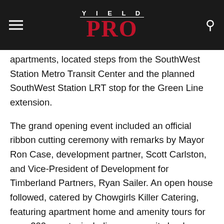YIELD PRO
apartments, located steps from the SouthWest Station Metro Transit Center and the planned SouthWest Station LRT stop for the Green Line extension.
The grand opening event included an official ribbon cutting ceremony with remarks by Mayor Ron Case, development partner, Scott Carlston, and Vice-President of Development for Timberland Partners, Ryan Sailer. An open house followed, catered by Chowgirls Killer Catering, featuring apartment home and amenity tours for over 200 guests, including community leaders, business partners and honored guests.
The $63.7 million, 222-unit mixed-income and mixed-use project was designed by Kaas Wilson Architects and constructed by...